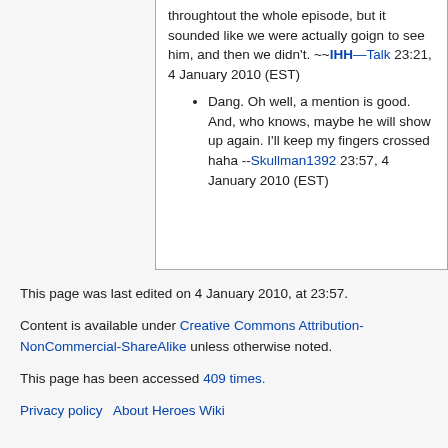throughtout the whole episode, but it sounded like we were actually goign to see him, and then we didn't. ~~IHH—Talk 23:21, 4 January 2010 (EST)
Dang. Oh well, a mention is good. And, who knows, maybe he will show up again. I'll keep my fingers crossed haha --Skullman1392 23:57, 4 January 2010 (EST)
This page was last edited on 4 January 2010, at 23:57.
Content is available under Creative Commons Attribution-NonCommercial-ShareAlike unless otherwise noted.
This page has been accessed 409 times.
Privacy policy  About Heroes Wiki